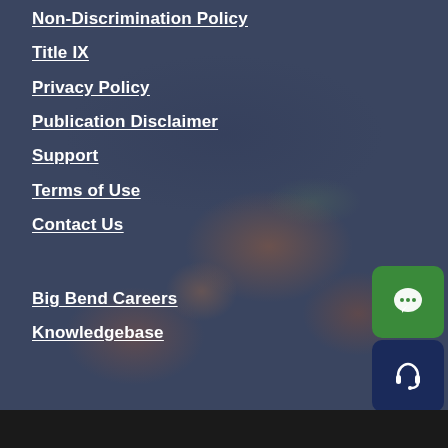Non-Discrimination Policy
Title IX
Privacy Policy
Publication Disclaimer
Support
Terms of Use
Contact Us
Big Bend Careers
Knowledgebase